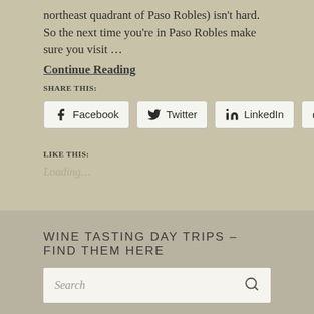northeast quadrant of Paso Robles) isn't hard. So the next time you're in Paso Robles make sure you visit …
Continue Reading
SHARE THIS:
[Figure (infographic): Four share buttons: Facebook, Twitter, LinkedIn, Print]
LIKE THIS:
Loading…
WINE TASTING DAY TRIPS – FIND THEM HERE
Search